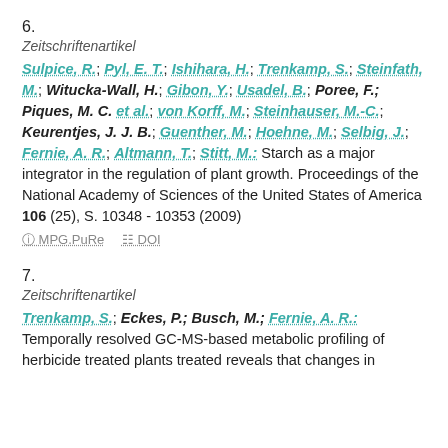6.
Zeitschriftenartikel
Sulpice, R.; Pyl, E. T.; Ishihara, H.; Trenkamp, S.; Steinfath, M.; Witucka-Wall, H.; Gibon, Y.; Usadel, B.; Poree, F.; Piques, M. C. et al.; von Korff, M.; Steinhauser, M.-C.; Keurentjes, J. J. B.; Guenther, M.; Hoehne, M.; Selbig, J.; Fernie, A. R.; Altmann, T.; Stitt, M.: Starch as a major integrator in the regulation of plant growth. Proceedings of the National Academy of Sciences of the United States of America 106 (25), S. 10348 - 10353 (2009)
MPG.PuRe   DOI
7.
Zeitschriftenartikel
Trenkamp, S.; Eckes, P.; Busch, M.; Fernie, A. R.: Temporally resolved GC-MS-based metabolic profiling of herbicide treated plants treated reveals that changes in